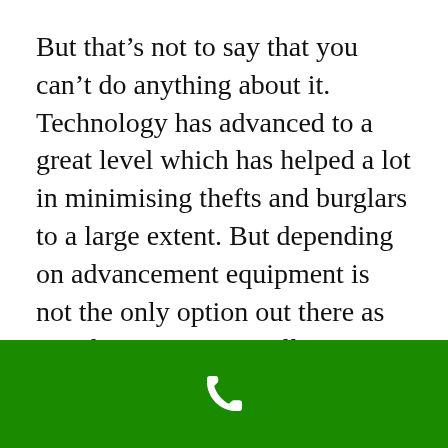But that's not to say that you can't do anything about it. Technology has advanced to a great level which has helped a lot in minimising thefts and burglars to a large extent. But depending on advancement equipment is not the only option out there as simple services are still productive.
Fencing has become an essential part of home security
[Figure (illustration): Green footer bar with a white phone handset icon centered]